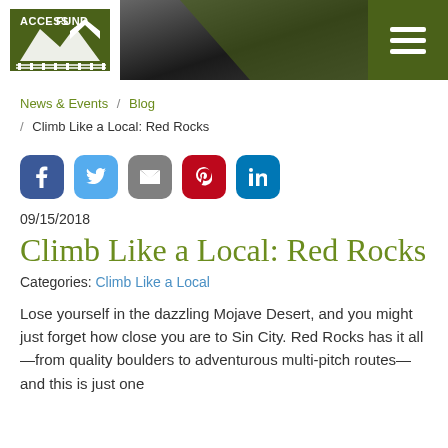[Figure (logo): Access Fund logo with mountain silhouette and fence posts]
Navigation header with hamburger menu icon
News & Events / Blog / Climb Like a Local: Red Rocks
[Figure (infographic): Social share buttons: Facebook, Twitter, Email, Pinterest, LinkedIn]
09/15/2018
Climb Like a Local: Red Rocks
Categories: Climb Like a Local
Lose yourself in the dazzling Mojave Desert, and you might just forget how close you are to Sin City. Red Rocks has it all—from quality boulders to adventurous multi-pitch routes—and this is just one...